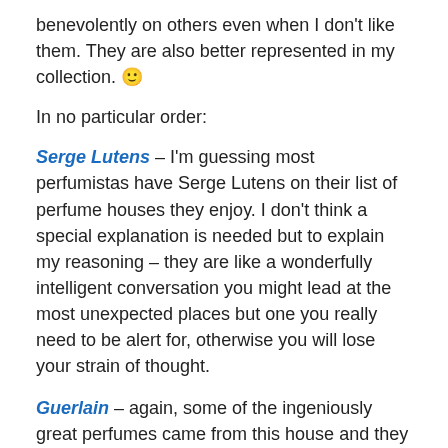benevolently on others even when I don't like them. They are also better represented in my collection. 🙂
In no particular order:
Serge Lutens – I'm guessing most perfumistas have Serge Lutens on their list of perfume houses they enjoy. I don't think a special explanation is needed but to explain my reasoning – they are like a wonderfully intelligent conversation you might lead at the most unexpected places but one you really need to be alert for, otherwise you will lose your strain of thought.
Guerlain – again, some of the ingeniously great perfumes came from this house and they still come up with some great perfumes.
Ramon Monegal – now, I only recently discovered this